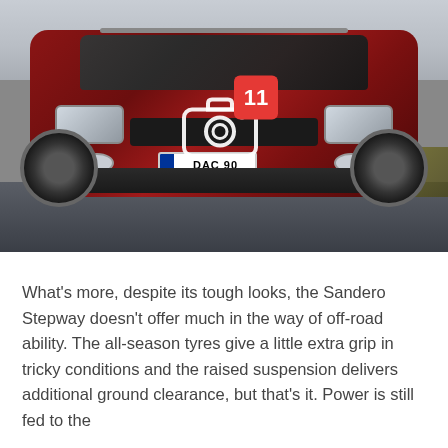[Figure (photo): Front view of a red Dacia Sandero Stepway driving on a road, with a camera icon overlay in the center and a red badge showing number 11 in the upper right of the icon. License plate reads DAC 90.]
What's more, despite its tough looks, the Sandero Stepway doesn't offer much in the way of off-road ability. The all-season tyres give a little extra grip in tricky conditions and the raised suspension delivers additional ground clearance, but that's it. Power is still fed to the